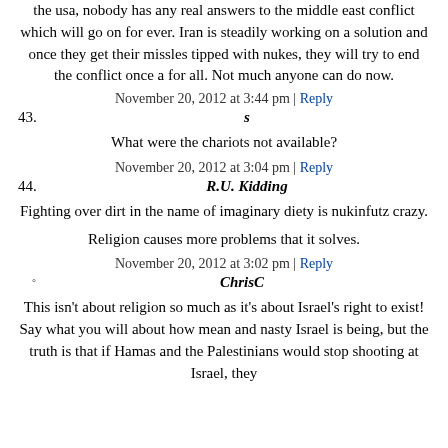the usa, nobody has any real answers to the middle east conflict which will go on for ever. Iran is steadily working on a solution and once they get their missles tipped with nukes, they will try to end the conflict once a for all. Not much anyone can do now.
November 20, 2012 at 3:44 pm | Reply
43. s
What were the chariots not available?
November 20, 2012 at 3:04 pm | Reply
44. R.U. Kidding
Fighting over dirt in the name of imaginary diety is nukinfutz crazy.
Religion causes more problems that it solves.
November 20, 2012 at 3:02 pm | Reply
ChrisC
This isn't about religion so much as it's about Israel's right to exist! Say what you will about how mean and nasty Israel is being, but the truth is that if Hamas and the Palestinians would stop shooting at Israel, they